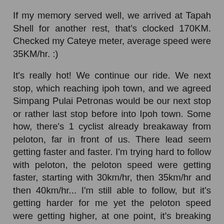If my memory served well, we arrived at Tapah Shell for another rest, that's clocked 170KM. Checked my Cateye meter, average speed were 35KM/hr. :)
It's really hot! We continue our ride. We next stop, which reaching ipoh town, and we agreed Simpang Pulai Petronas would be our next stop or rather last stop before into Ipoh town. Some how, there's 1 cyclist already breakaway from peloton, far in front of us. There lead seem getting faster and faster. I'm trying hard to follow with peloton, the peloton speed were getting faster, starting with 30km/hr, then 35km/hr and then 40km/hr... I'm still able to follow, but it's getting harder for me yet the peloton speed were getting higher, at one point, it's breaking 45km/hr, that's when i'm dropped.
Cursing.. Cursing like usual training when i'm get dropped. Where your all got your power pedaling for speed above 45km/hr after 170KM riding! Foreveralone cycling is normal for me when cycle with P2K. Without peloton's drafting help, my speed hardly hit 35km/hr. It's was just around 30KM/hr.